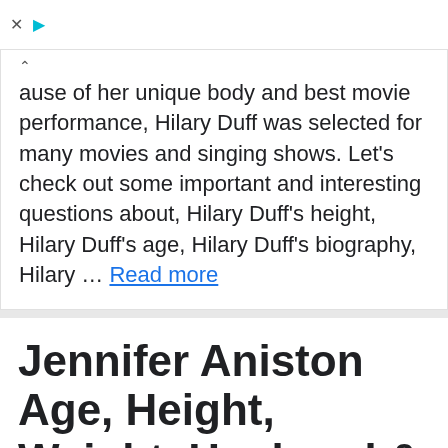ause of her unique body and best movie performance, Hilary Duff was selected for many movies and singing shows. Let's check out some important and interesting questions about, Hilary Duff's height, Hilary Duff's age, Hilary Duff's biography, Hilary … Read more
Jennifer Aniston Age, Height, Weight, Husband & Body Measurements